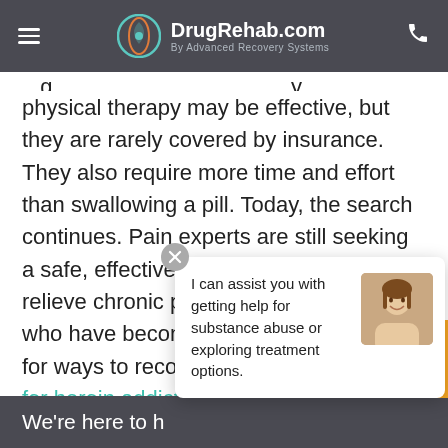DrugRehab.com By Advanced Recovery Systems
physical therapy may be effective, but they are rarely covered by insurance. They also require more time and effort than swallowing a pill. Today, the search continues. Pain experts are still seeking a safe, effective and accessible way to relieve chronic pain. Millions of people who have become addicted are looking for ways to recover. But more resources for heroin addiction are available today than ever before, and relief from addiction is possible for those who seek treatment.
We're here to h...
I can assist you with getting help for substance abuse or exploring treatment options.